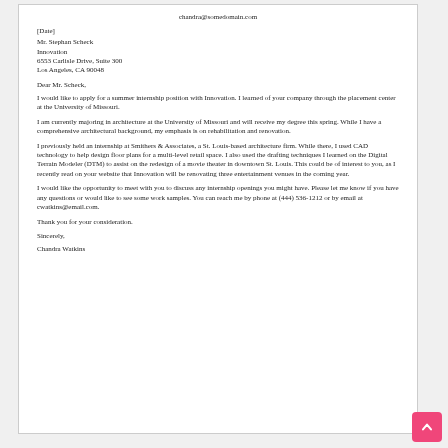chandra@somedomain.com
[Date]
Mr. Stephan Scheck
Innovation
6553 Carlisle Drive, Suite 300
Los Angeles, CA 90048
Dear Mr. Scheck,
I would like to apply for a summer internship position with Innovation. I learned of your company through the placement center at the University of Missouri.
I am currently majoring in architecture at the University of Missouri and will receive my degree this spring. While I have a comprehensive architectural background, my emphasis is on rehabilitation and renovation.
I previously held an internship at Smithers & Associates, a St. Louis-based architecture firm. While there, I used CAD technology to help design floor plans for a multi-level retail space. I also used the drafting techniques I learned on the Digital Terrain Modeler (DTM) to assist on the redesign of a movie theater in downtown St. Louis. This could be of interest to you, as I recently read on your website that Innovation will be renovating three entertainment venues in the coming year.
I would like the opportunity to meet with you to discuss any internship openings you might have. Please let me know if you have any questions or would like to see some work samples. You can reach me by phone at (444) 536-1212 or by email at cwatkins@email.com.
Thank you for your consideration.
Sincerely,
Chandra Watkins